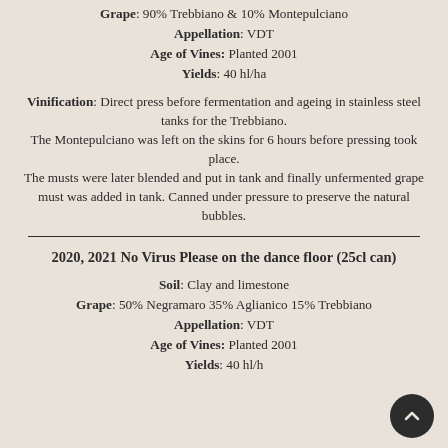Grape: 90% Trebbiano & 10% Montepulciano
Appellation: VDT
Age of Vines: Planted 2001
Yields: 40 hl/ha
Vinification: Direct press before fermentation and ageing in stainless steel tanks for the Trebbiano. The Montepulciano was left on the skins for 6 hours before pressing took place. The musts were later blended and put in tank and finally unfermented grape must was added in tank. Canned under pressure to preserve the natural bubbles.
2020, 2021 No Virus Please on the dance floor (25cl can)
Soil: Clay and limestone
Grape: 50% Negramaro 35% Aglianico 15% Trebbiano
Appellation: VDT
Age of Vines: Planted 2001
Yields: 40 hl/h